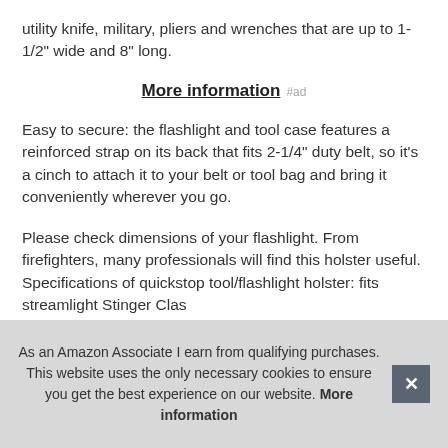utility knife, military, pliers and wrenches that are up to 1-1/2" wide and 8" long.
More information #ad
Easy to secure: the flashlight and tool case features a reinforced strap on its back that fits 2-1/4" duty belt, so it's a cinch to attach it to your belt or tool bag and bring it conveniently wherever you go.
Please check dimensions of your flashlight. From firefighters, many professionals will find this holster useful. Specifications of quickstop tool/flashlight holster: fits streamlight Stinger Clas… Old Models and Streamlight Personnel/Plastics Surelink Cou… area… den… and…
As an Amazon Associate I earn from qualifying purchases. This website uses the only necessary cookies to ensure you get the best experience on our website. More information